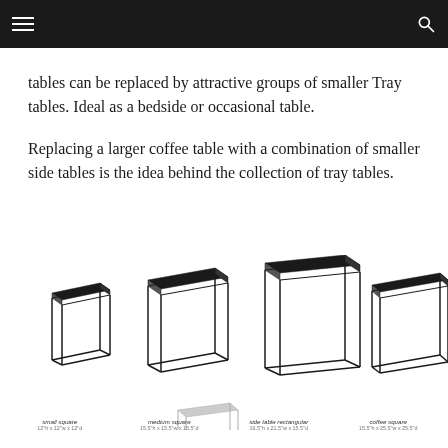tables can be replaced by attractive groups of smaller Tray tables. Ideal as a bedside or occasional table.
Replacing a larger coffee table with a combination of smaller side tables is the idea behind the collection of tray tables.
[Figure (illustration): Product size comparison diagram showing four tray table sizes in line-art style: small square, medium square, side table rectangular, and coffee square, each shown as a wire-frame 3D drawing with a dark tray top.]
small square
12"h x 12"w x 12"d    medium square
15.5"h x 15.5"w x 15.5"d    side table rectangular
16.5"h x 21.5"w x 15.5"d    coffee square
15.5"h x 25.5"w x 25.5"d